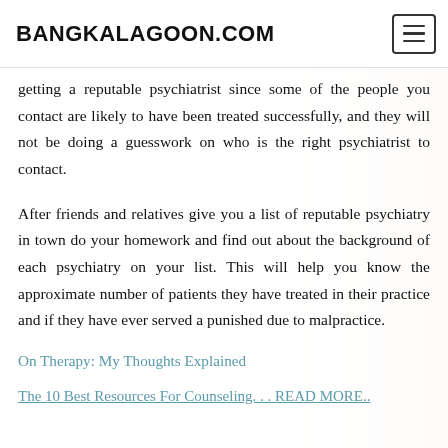BANGKALAGOON.COM
getting a reputable psychiatrist since some of the people you contact are likely to have been treated successfully, and they will not be doing a guesswork on who is the right psychiatrist to contact.
After friends and relatives give you a list of reputable psychiatry in town do your homework and find out about the background of each psychiatry on your list. This will help you know the approximate number of patients they have treated in their practice and if they have ever served a punished due to malpractice.
On Therapy: My Thoughts Explained
The 10 Best Resources For Counseling. . . READ MORE..